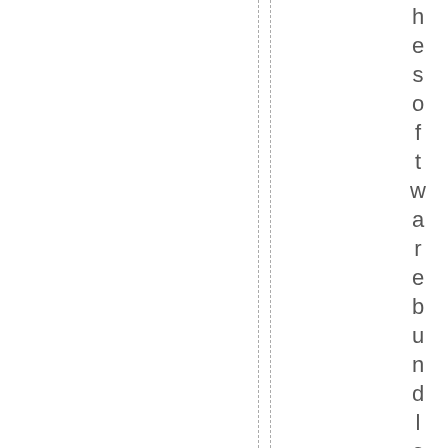hesoftwaredebundle we have justu plo